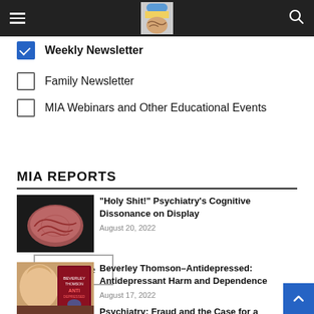Mad in America - navigation bar with hamburger menu, logo, and search icon
Weekly Newsletter (checked)
Family Newsletter
MIA Webinars and Other Educational Events
Subscribe
MIA REPORTS
[Figure (photo): Brain image on dark background]
“Holy Shit!” Psychiatry’s Cognitive Dissonance on Display
August 20, 2022
[Figure (photo): Woman with blonde hair next to Antidepressed book cover]
Beverley Thomson–Antidepressed: Antidepressant Harm and Dependence
August 17, 2022
[Figure (photo): Partial thumbnail for third article]
Psychiatry: Fraud and the Case for a Class...